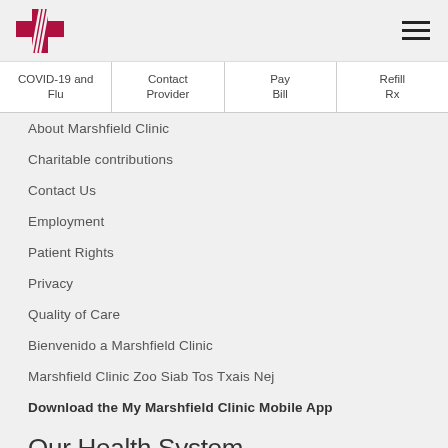Marshfield Clinic logo and navigation menu icon
| COVID-19 and Flu | Contact Provider | Pay Bill | Refill Rx |
| --- | --- | --- | --- |
About Marshfield Clinic
Charitable contributions
Contact Us
Employment
Patient Rights
Privacy
Quality of Care
Bienvenido a Marshfield Clinic
Marshfield Clinic Zoo Siab Tos Txais Nej
Download the My Marshfield Clinic Mobile App
Our Health System
Marshfield Clinic Health System
Marshfield Clinic